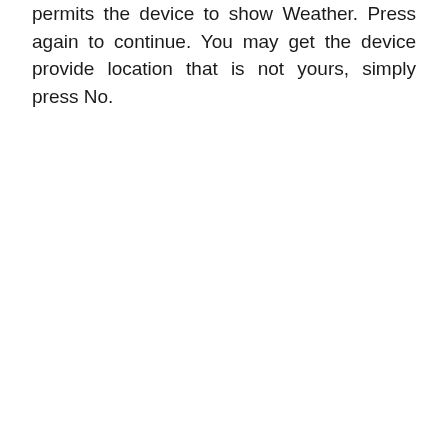permits the device to show Weather. Press again to continue. You may get the device provide location that is not yours, simply press No.